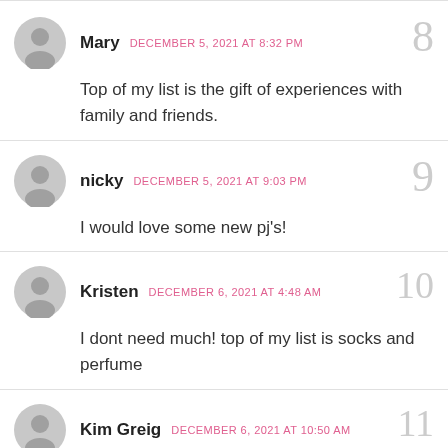Mary  DECEMBER 5, 2021 AT 8:32 PM
Top of my list is the gift of experiences with family and friends.
8
nicky  DECEMBER 5, 2021 AT 9:03 PM
I would love some new pj's!
9
Kristen  DECEMBER 6, 2021 AT 4:48 AM
I dont need much! top of my list is socks and perfume
10
Kim Greig  DECEMBER 6, 2021 AT 10:50 AM
11